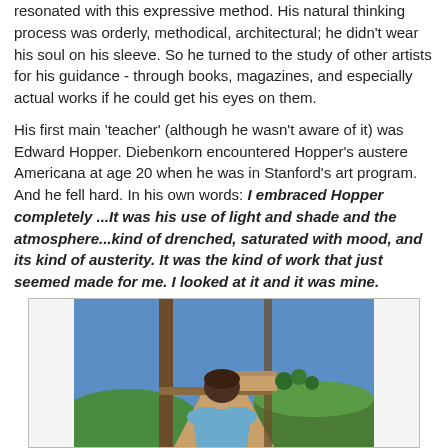resonated with this expressive method. His natural thinking process was orderly, methodical, architectural; he didn't wear his soul on his sleeve. So he turned to the study of other artists for his guidance - through books, magazines, and especially actual works if he could get his eyes on them.

His first main 'teacher' (although he wasn't aware of it) was Edward Hopper. Diebenkorn encountered Hopper's austere Americana at age 20 when he was in Stanford's art program. And he fell hard. In his own words: I embraced Hopper completely ...It was his use of light and shade and the atmosphere...kind of drenched, saturated with mood, and its kind of austerity. It was the kind of work that just seemed made for me. I looked at it and it was mine.
[Figure (illustration): Painting of a figure seen from behind, with dark hair, wearing a blue garment, looking out through a window or door frame at a green landscape under a blue sky.]